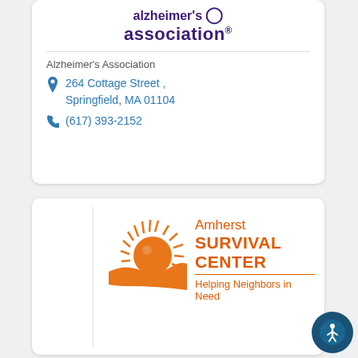[Figure (logo): Alzheimer's Association logo with purple 'association®' text]
Alzheimer's Association
264 Cottage Street , Springfield, MA 01104
(617) 393-2152
[Figure (logo): Amherst Survival Center logo with orange sun graphic and text 'Amherst SURVIVAL CENTER Helping Neighbors in Need']